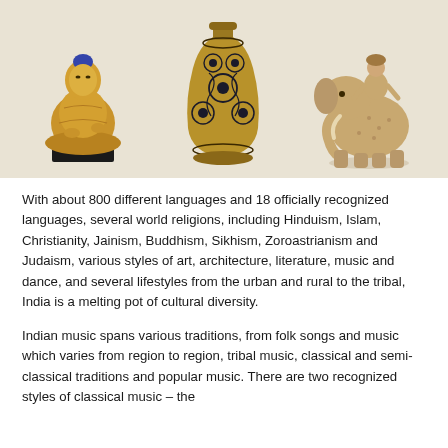[Figure (photo): Three Indian cultural artifacts on a beige background: a golden seated Buddha statue (left), a decorative brass vase with floral patterns (center), and a terracotta sculpture of a figure riding an elephant (right).]
With about 800 different languages and 18 officially recognized languages, several world religions, including Hinduism, Islam, Christianity, Jainism, Buddhism, Sikhism, Zoroastrianism and Judaism, various styles of art, architecture, literature, music and dance, and several lifestyles from the urban and rural to the tribal, India is a melting pot of cultural diversity.
Indian music spans various traditions, from folk songs and music which varies from region to region, tribal music, classical and semi-classical traditions and popular music. There are two recognized styles of classical music – the